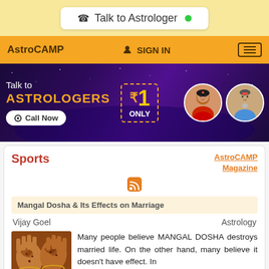Talk to Astrologer
AstroCAMP  SIGN IN
[Figure (screenshot): Astrology website banner showing 'Talk to ASTROLOGERS ₹1 ONLY Call Now' with two astrologer profile photos on a dark purple galaxy background]
Sports
AstroCAMP Magazine
[Figure (other): RSS feed icon in orange]
Mangal Dosha & Its Effects on Marriage
Vijay Goel    Astrology
[Figure (photo): Close-up photo of hands with henna/mehndi design, wedding context]
Many people believe MANGAL DOSHA destroys married life. On the other hand, many believe it doesn't have effect. In this article, astrologer Vijay Goel ...